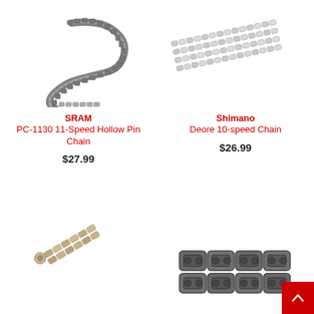[Figure (photo): SRAM PC-1130 11-Speed Hollow Pin Chain product photo - dark colored bicycle chain in S-shape]
[Figure (photo): Shimano Deore 10-speed Chain product photo - silver bicycle chain laid in parallel rows]
SRAM
PC-1130 11-Speed Hollow Pin Chain
$27.99
Shimano
Deore 10-speed Chain
$26.99
[Figure (photo): Bicycle chain product photo - silver/tan colored chain at angle, partial view]
[Figure (photo): Bicycle chain product photo - dark gray chain close-up, partial view]